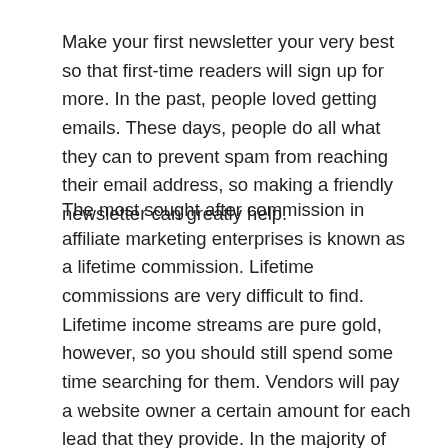Make your first newsletter your very best so that first-time readers will sign up for more. In the past, people loved getting emails. These days, people do all what they can to prevent spam from reaching their email address, so making a friendly newsletter can greatly help.
The most sought after commission in affiliate marketing enterprises is known as a lifetime commission. Lifetime commissions are very difficult to find. Lifetime income streams are pure gold, however, so you should still spend some time searching for them. Vendors will pay a website owner a certain amount for each lead that they provide. In the majority of affiliate programs, that commission is paid only for the first purchase that the customer makes. That is why hunting up these things is worth your time.